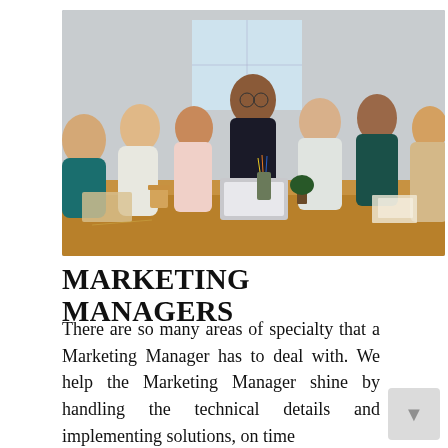[Figure (photo): A group of young professionals sitting around a wooden conference table, collaborating with laptops, notebooks, and coffee cups. A man in the center with glasses appears to be presenting or explaining something.]
MARKETING MANAGERS
There are so many areas of specialty that a Marketing Manager has to deal with. We help the Marketing Manager shine by handling the technical details and implementing solutions, on time